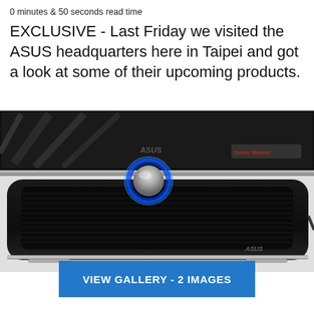0 minutes & 50 seconds read time
EXCLUSIVE - Last Friday we visited the ASUS headquarters here in Taipei and got a look at some of their upcoming products.
[Figure (photo): Close-up photograph of an ASUS speaker sound bar accessory with a glowing blue circular control knob, positioned below an ASUS monitor/display. The speaker is black with a fabric grille and chrome/silver trim accents. White background.]
VIEW GALLERY - 2 IMAGES